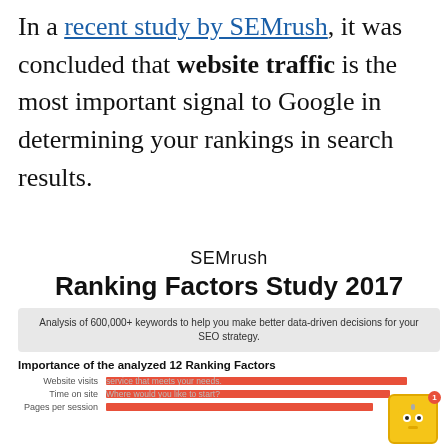In a recent study by SEMrush, it was concluded that website traffic is the most important signal to Google in determining your rankings in search results.
[Figure (infographic): SEMrush Ranking Factors Study 2017 infographic showing analysis of 600,000+ keywords and importance of 12 ranking factors including Website visits, Time on site, Pages per session, with horizontal bar chart in red/orange colors.]